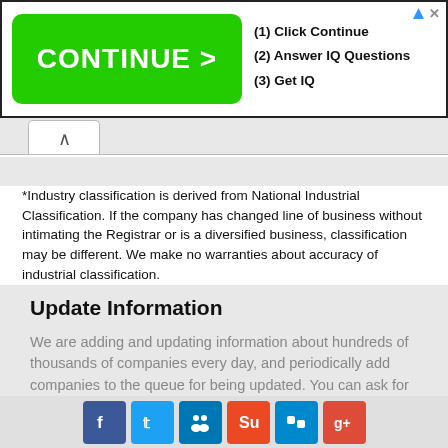[Figure (screenshot): Advertisement banner with green CONTINUE > button and text: (1) Click Continue, (2) Answer IQ Questions, (3) Get IQ]
*Industry classification is derived from National Industrial Classification. If the company has changed line of business without intimating the Registrar or is a diversified business, classification may be different. We make no warranties about accuracy of industrial classification.
Update Information
We are adding and updating information about hundreds of thousands of companies every day, and periodically add companies to the queue for being updated. You can ask for a company to be added to the front of the queue for updating,
[Figure (screenshot): Social media sharing icons: Facebook, Twitter, LinkedIn, StumbleUpon, Delicious, Google+]